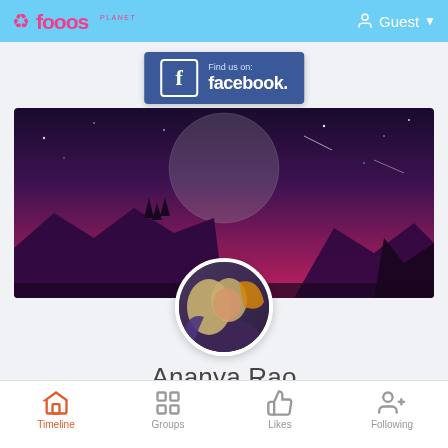fooos PLANET  Guest
[Figure (logo): Find us on: facebook button banner in blue]
[Figure (photo): Cover photo: purple/pink night sky with large moon and mountain silhouettes]
[Figure (photo): Circular profile photo of a person]
Ananya Rao
Timeline  Groups  Likes  Following